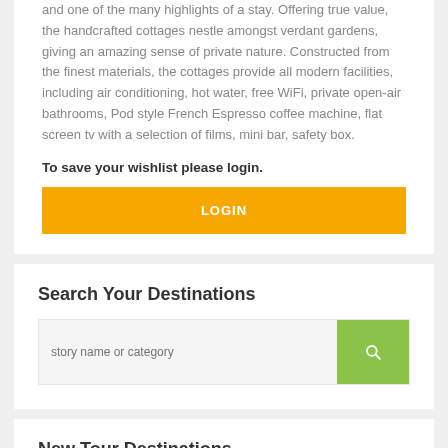and one of the many highlights of a stay. Offering true value, the handcrafted cottages nestle amongst verdant gardens, giving an amazing sense of private nature. Constructed from the finest materials, the cottages provide all modern facilities, including air conditioning, hot water, free WiFi, private open-air bathrooms, Pod style French Espresso coffee machine, flat screen tv with a selection of films, mini bar, safety box.
To save your wishlist please login.
LOGIN
Search Your Destinations
story name or category
New Tour Destinations